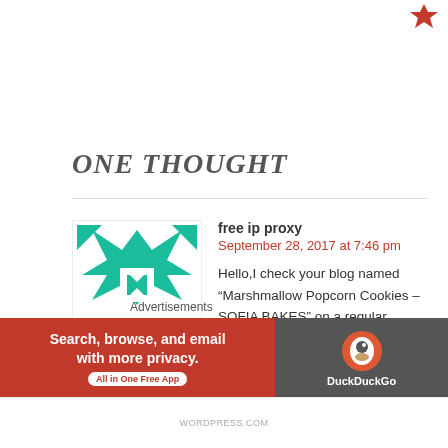[Figure (logo): Small red decorative icon in top right corner]
ONE THOUGHT
free ip proxy
September 28, 2017 at 7:46 pm
[Figure (illustration): Teal geometric snowflake/star pattern avatar image]
Hello,I check your blog named “Marshmallow Popcorn Cookies – SOFIA BAKES” on a regular basis.Your writing style is awesome, keep up the good work! And you can look our website about free ip proxy.
Advertisements
[Figure (screenshot): DuckDuckGo advertisement banner: Search, browse, and email with more privacy. All in One Free App]